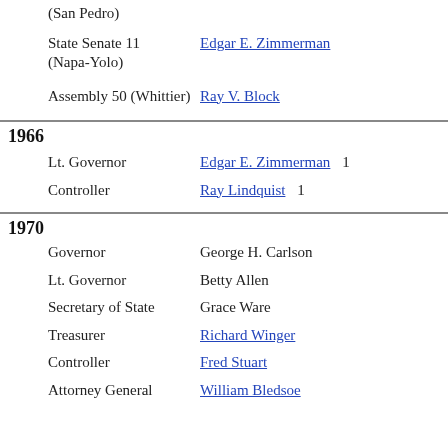(San Pedro)
State Senate 11 (Napa-Yolo) — Edgar E. Zimmerman
Assembly 50 (Whittier) — Ray V. Block
1966
Lt. Governor — Edgar E. Zimmerman — 1
Controller — Ray Lindquist — 1
1970
Governor — George H. Carlson
Lt. Governor — Betty Allen
Secretary of State — Grace Ware
Treasurer — Richard Winger
Controller — Fred Stuart
Attorney General — William Bledsoe